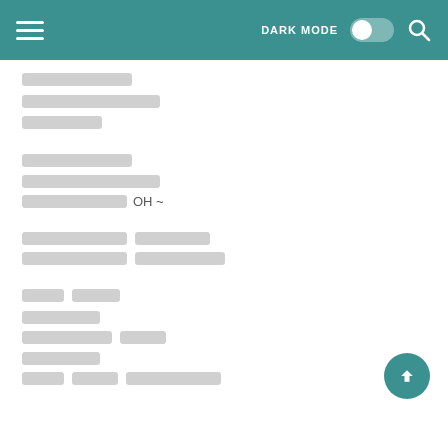[hamburger menu] DARK MODE [toggle] [search icon]
[redacted line 1]
[redacted line 2]
[redacted line 3]
[redacted line 4]
[redacted line 5]
[redacted line 6] OH ~
[redacted line 7] [redacted]
[redacted line 8] [redacted]
[redacted] [redacted]
[redacted]
[redacted] [redacted]
[redacted]
[redacted] [redacted]